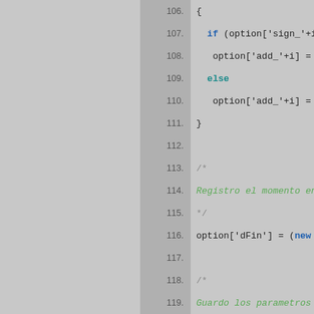[Figure (screenshot): Source code listing showing lines 106–125 of JavaScript code with syntax highlighting. Left portion is gray background, center column shows line numbers on darker gray, right portion shows code on light gray background. Keywords in blue/teal, comments in green italic.]